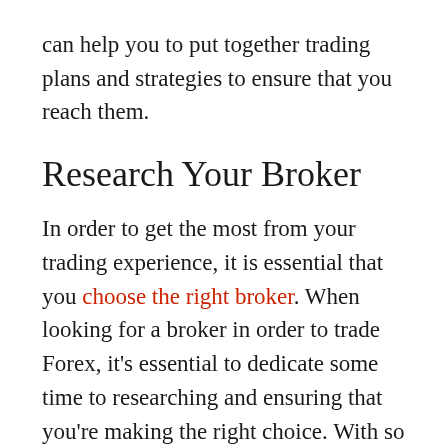can help you to put together trading plans and strategies to ensure that you reach them.
Research Your Broker
In order to get the most from your trading experience, it is essential that you choose the right broker. When looking for a broker in order to trade Forex, it’s essential to dedicate some time to researching and ensuring that you’re making the right choice. With so many bogus brokers out there looking to scam